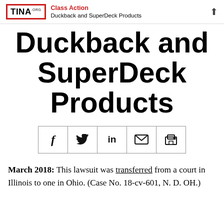Class Action | Duckback and SuperDeck Products
Duckback and SuperDeck Products
[Figure (other): Social share buttons row: Facebook (f), Twitter (bird), LinkedIn (in), Email (envelope), Print (printer)]
March 2018: This lawsuit was transferred from a court in Illinois to one in Ohio. (Case No. 18-cv-601, N. D. OH.)